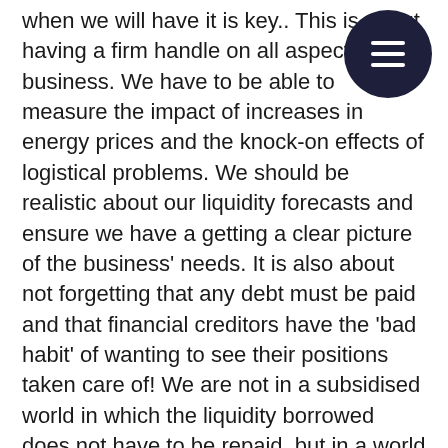when we will have it is key.. This is about having a firm handle on all aspects of the business. We have to be able to measure the impact of increases in energy prices and the knock-on effects of logistical problems. We should be realistic about our liquidity forecasts and ensure we have a getting a clear picture of the business' needs. It is also about not forgetting that any debt must be paid and that financial creditors have the 'bad habit' of wanting to see their positions taken care of! We are not in a subsidised world in which the liquidity borrowed does not have to be repaid, but in a world in which assuming the obligations and foreseeing the future needs and the possible setbacks that can assault us becomes key.
We all agree that the invasion of Ukraine has